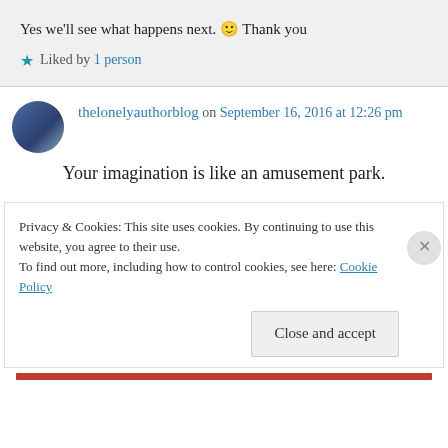Yes we'll see what happens next. 🙂 Thank you
★ Liked by 1 person
thelonelyauthorblog on September 16, 2016 at 12:26 pm
Your imagination is like an amusement park.
Privacy & Cookies: This site uses cookies. By continuing to use this website, you agree to their use.
To find out more, including how to control cookies, see here: Cookie Policy
Close and accept